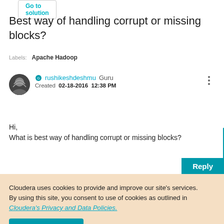Best way of handling corrupt or missing blocks?
Labels: Apache Hadoop
rushikeshdeshmu  Guru
Created  02-18-2016  12:38 PM
Hi,
What is best way of handling corrupt or missing blocks?
Feedback
Reply
Cloudera uses cookies to provide and improve our site's services. By using this site, you consent to use of cookies as outlined in Cloudera's Privacy and Data Policies.
Accept Cookies